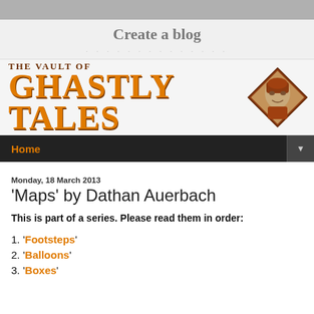Create a blog
[Figure (logo): The Vault of Ghastly Tales banner logo with diamond portrait icon]
Home
Monday, 18 March 2013
'Maps' by Dathan Auerbach
This is part of a series. Please read them in order:
1. 'Footsteps'
2. 'Balloons'
3. 'Boxes'